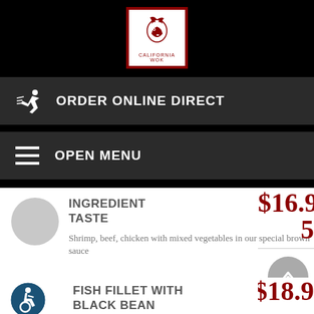[Figure (logo): California Wok restaurant logo — red dragon head on white background with red border, text CALIFORNIA WOK below]
ORDER ONLINE DIRECT
OPEN MENU
INGREDIENT TASTE
Shrimp, beef, chicken with mixed vegetables in our special brown sauce
$16.95
FISH FILLET WITH BLACK BEAN
$18.95